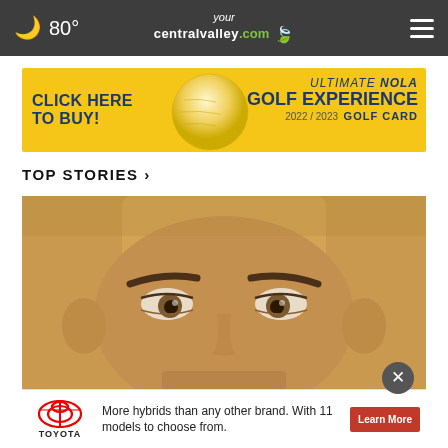🌙 80° yourcentralvalley.com ☰
[Figure (infographic): Advertisement banner: CLICK HERE TO BUY! ULTIMATE NOLA Golf Experience 2022/2023 GOLF CARD on yellow background with golf ball graphic]
TOP STORIES ›
[Figure (photo): Close-up face photo of a young man, mugshot-style, showing eyes and upper face with neutral expression]
[Figure (infographic): Toyota advertisement: More hybrids than any other brand. With 11 models to choose from. Learn More button. Toyota logo visible.]